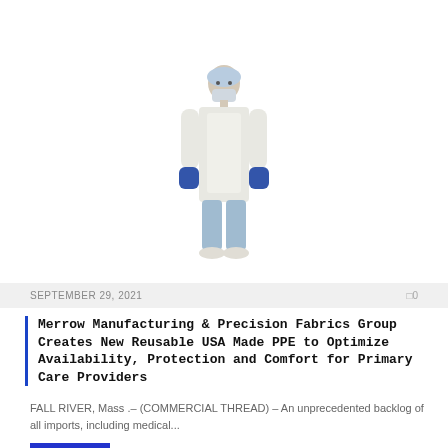TEXTILE FABRIC
[Figure (illustration): Medical professional wearing a white reusable surgical gown, blue gloves, surgical mask, and head covering, standing on a white background.]
SEPTEMBER 29, 2021   0
Merrow Manufacturing & Precision Fabrics Group Creates New Reusable USA Made PPE to Optimize Availability, Protection and Comfort for Primary Care Providers
FALL RIVER, Mass .– (COMMERCIAL THREAD) – An unprecedented backlog of all imports, including medical...